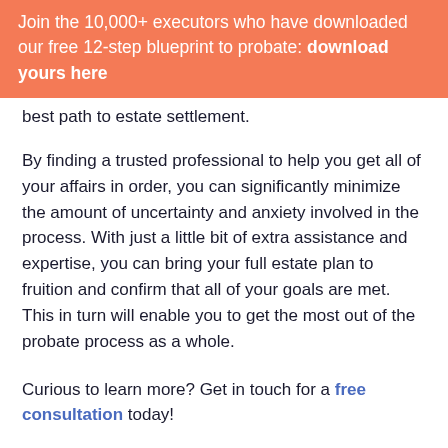Join the 10,000+ executors who have downloaded our free 12-step blueprint to probate: download yours here
best path to estate settlement.
By finding a trusted professional to help you get all of your affairs in order, you can significantly minimize the amount of uncertainty and anxiety involved in the process. With just a little bit of extra assistance and expertise, you can bring your full estate plan to fruition and confirm that all of your goals are met. This in turn will enable you to get the most out of the probate process as a whole.
Curious to learn more? Get in touch for a free consultation today!